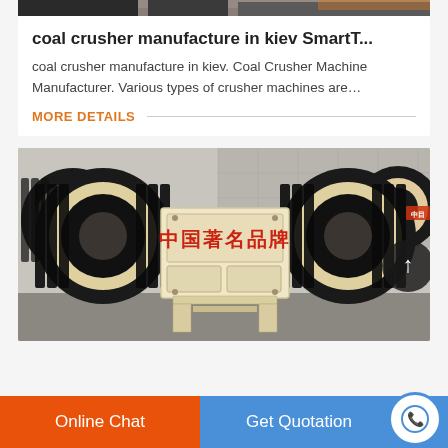[Figure (photo): Top portion of a machinery photo (partially visible at top of card)]
coal crusher manufacture in kiev SmartT...
coal crusher manufacture in kiev. Coal Crusher Machine Manufacturer. Various types of crusher machines are…
MORE DETAILS
[Figure (photo): Industrial jaw crusher machine with large black belt-drive pulleys on each side, cream/beige colored body, with red Chinese text '中国著名品牌' (China Famous Brand) on the front panel. A dark circular navigation arrow button is visible on the right side.]
Online Chat
Get Quotation